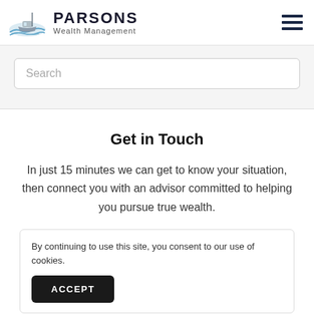[Figure (logo): Parsons Wealth Management logo with wave/boat graphic and brand name]
Search
Get in Touch
In just 15 minutes we can get to know your situation, then connect you with an advisor committed to helping you pursue true wealth.
By continuing to use this site, you consent to our use of cookies.
ACCEPT